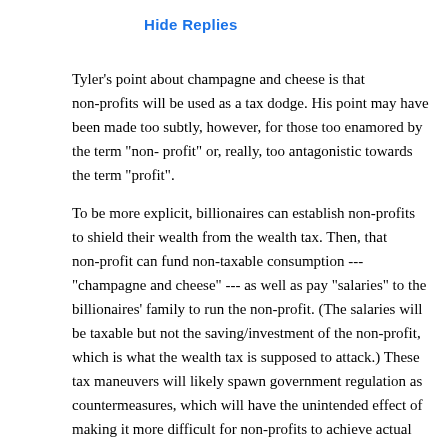Hide Replies
Tyler's point about champagne and cheese is that non-profits will be used as a tax dodge. His point may have been made too subtly, however, for those too enamored by the term "non-profit" or, really, too antagonistic towards the term "profit".
To be more explicit, billionaires can establish non-profits to shield their wealth from the wealth tax. Then, that non-profit can fund non-taxable consumption --- "champagne and cheese" --- as well as pay "salaries" to the billionaires' family to run the non-profit. (The salaries will be taxable but not the saving/investment of the non-profit, which is what the wealth tax is supposed to attack.) These tax maneuvers will likely spawn government regulation as countermeasures, which will have the unintended effect of making it more difficult for non-profits to achieve actual philanthropic results. Presumably, those that like non-profits for philanthropic, rather than anti-profit, reasons would not welcome these consequences.